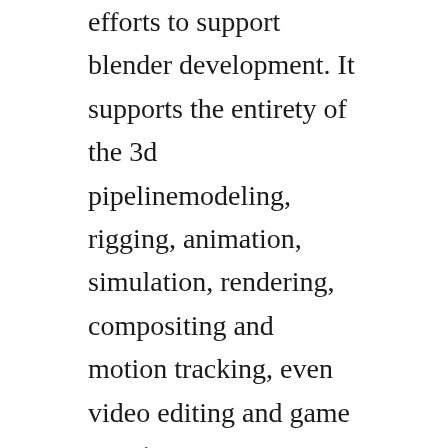efforts to support blender development. It supports the entirety of the 3d pipelinemodeling, rigging, animation, simulation, rendering, compositing and motion tracking, even video editing and game creation.
Install blender by click the terminal and enter aptget install blender. An android blender 3d box would be great to setup for someone. Blender developers blog developer musings on blender. You can also keep up to date with the latest news, promotions, and features.